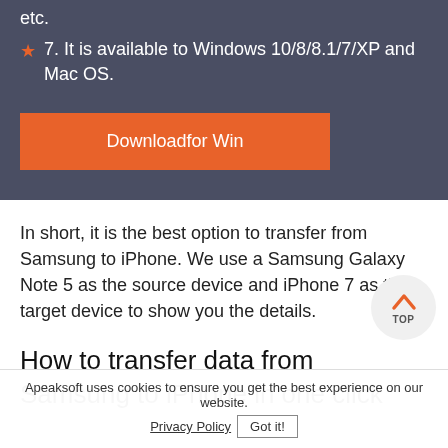etc.
7. It is available to Windows 10/8/8.1/7/XP and Mac OS.
[Figure (other): Download for Win button — orange rectangular button with white text]
In short, it is the best option to transfer from Samsung to iPhone. We use a Samsung Galaxy Note 5 as the source device and iPhone 7 as the target device to show you the details.
How to transfer data from Samsung to iPhone in one click
[Figure (other): Back to top button — circular grey button with orange chevron icon and TOP label]
Apeaksoft uses cookies to ensure you get the best experience on our website.
Privacy Policy  Got it!